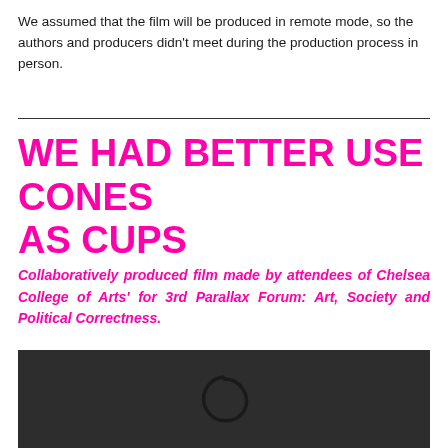We assumed that the film will be produced in remote mode, so the authors and producers didn't meet during the production process in person.
WE HAD BETTER USE CONES AS CUPS
Collaboratively produced film made by attendees of Chelsea College of Arts' for 3rd Parallax Forum: Art, Society and Political Correctness.
[Figure (screenshot): Dark gray/black video player thumbnail with a loading spinner icon in the center]